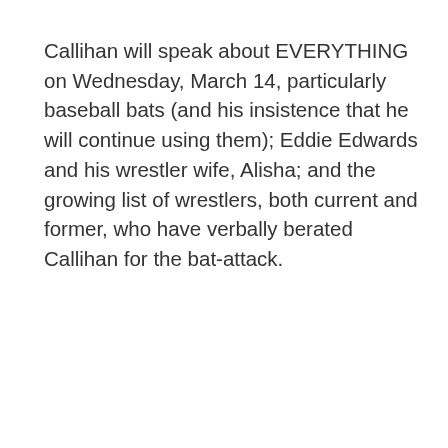Callihan will speak about EVERYTHING on Wednesday, March 14, particularly baseball bats (and his insistence that he will continue using them); Eddie Edwards and his wrestler wife, Alisha; and the growing list of wrestlers, both current and former, who have verbally berated Callihan for the bat-attack.